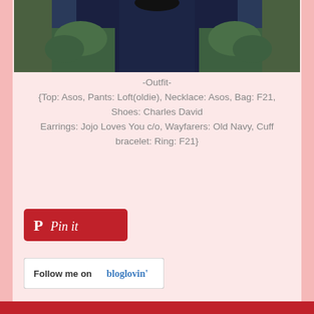[Figure (photo): Bottom portion of a fashion photo showing a person wearing a navy blue outfit outdoors with green bushes in the background]
-Outfit-
{Top: Asos, Pants: Loft(oldie), Necklace: Asos, Bag: F21, Shoes: Charles David
Earrings: Jojo Loves You c/o, Wayfarers: Old Navy, Cuff bracelet: Ring: F21}
[Figure (logo): Pinterest 'Pin it' button - red rounded rectangle with white italic 'Pin it' text and Pinterest P icon]
[Figure (logo): Bloglovin follow button - white rectangle with border, black 'Follow me on' text and blue 'bloglovin'' logo text]